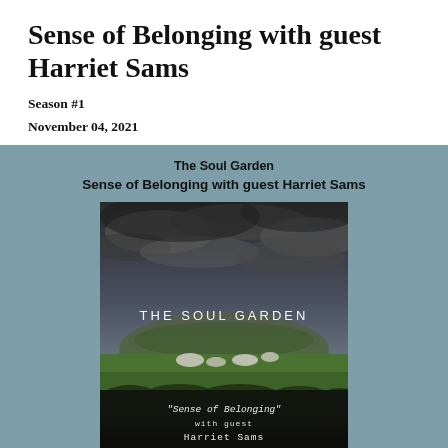Sense of Belonging with guest Harriet Sams
Season #1
November 04, 2021
[Figure (screenshot): Podcast card with steel-blue background showing 'The Soul Garden' text at top, 'Sense of Belonging with guest Harriet Sams' subtitle, and a square podcast cover image featuring a Neolithic mound under dramatic cloudy sky with green field and text 'THE SOUL GARDEN' and '"Sense of Belonging" with guest Harriet Sams']